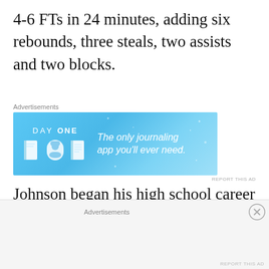4-6 FTs in 24 minutes, adding six rebounds, three steals, two assists and two blocks.
[Figure (other): Advertisement banner for Day One journaling app with blue background, icons, and text: 'The only journaling app you'll ever need.']
Johnson began his high school career at Sun Prairie High School (WI), where he put in 18.4 points, 9.6 rebounds, 4.0 assists, 1.9 steals and 1.5 blocks, leading the Cardinals to a 25-2 mark and an appearance in the state semifinals.  He
Advertisements